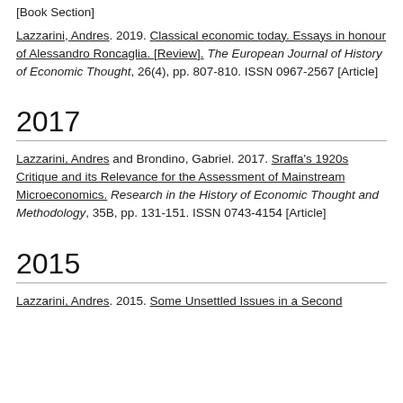[Book Section]
Lazzarini, Andres. 2019. Classical economic today. Essays in honour of Alessandro Roncaglia. [Review]. The European Journal of History of Economic Thought, 26(4), pp. 807-810. ISSN 0967-2567 [Article]
2017
Lazzarini, Andres and Brondino, Gabriel. 2017. Sraffa's 1920s Critique and its Relevance for the Assessment of Mainstream Microeconomics. Research in the History of Economic Thought and Methodology, 35B, pp. 131-151. ISSN 0743-4154 [Article]
2015
Lazzarini, Andres. 2015. Some Unsettled Issues in a Second